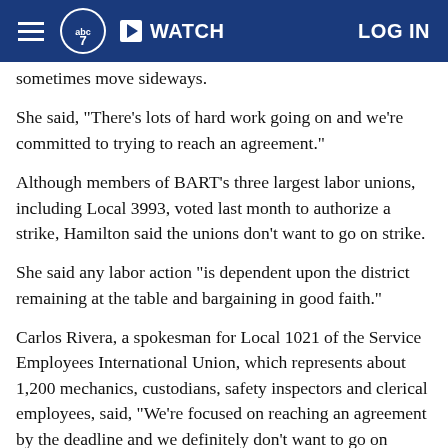ABC7 News — WATCH | LOG IN
sometimes move sideways.
She said, "There's lots of hard work going on and we're committed to trying to reach an agreement."
Although members of BART's three largest labor unions, including Local 3993, voted last month to authorize a strike, Hamilton said the unions don't want to go on strike.
She said any labor action "is dependent upon the district remaining at the table and bargaining in good faith."
Carlos Rivera, a spokesman for Local 1021 of the Service Employees International Union, which represents about 1,200 mechanics, custodians, safety inspectors and clerical employees, said, "We're focused on reaching an agreement by the deadline and we definitely don't want to go on strike."